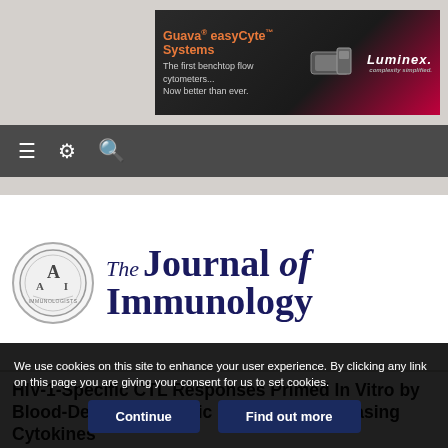[Figure (illustration): Guava easyCyte Systems advertisement banner for Luminex flow cytometers]
Navigation bar with hamburger menu, settings gear, and search icons
[Figure (logo): The Journal of Immunology logo with AAI seal]
HIV-1-Specific CTL Responses Primed In Vitro by Blood-Derived Dendritic Cells and Th1-Biasing Cytokines
We use cookies on this site to enhance your user experience. By clicking any link on this page you are giving your consent for us to set cookies.